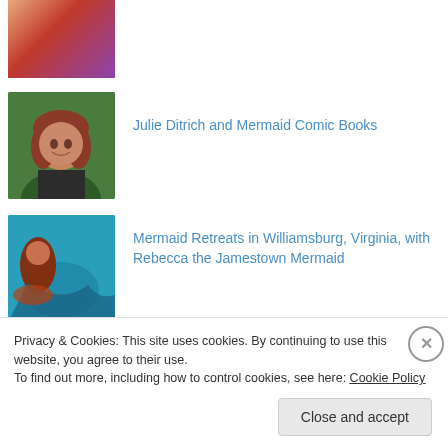[Figure (photo): Partial thumbnail image, top cropped, colorful artwork]
[Figure (photo): Woman with curly red-brown hair smiling, portrait photo outdoors]
Julie Ditrich and Mermaid Comic Books
[Figure (photo): Underwater scene with mermaid figure in teal water]
Mermaid Retreats in Williamsburg, Virginia, with Rebecca the Jamestown Mermaid
[Figure (photo): Landscape painting with mountains and sky]
Artist David Delamare and His Many Many Mermaids
Privacy & Cookies: This site uses cookies. By continuing to use this website, you agree to their use.
To find out more, including how to control cookies, see here: Cookie Policy
Close and accept